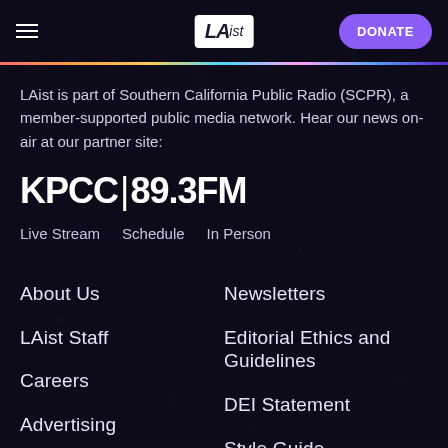LAist — DONATE
LAist is part of Southern California Public Radio (SCPR), a member-supported public media network. Hear our news on-air at our partner site:
KPCC|89.3FM
Live Stream   Schedule   In Person
About Us
Newsletters
LAist Staff
Editorial Ethics and Guidelines
Careers
DEI Statement
Advertising
Style Guide
Contact Us